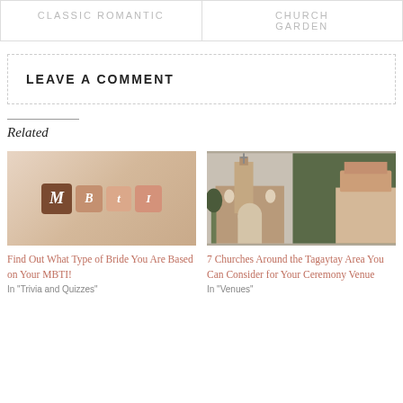| CLASSIC ROMANTIC | CHURCH
GARDEN |
| --- | --- |
LEAVE A COMMENT
Related
[Figure (photo): MBTI letter tiles (M, B, t, I) on a warm beige background]
Find Out What Type of Bride You Are Based on Your MBTI!
In "Trivia and Quizzes"
[Figure (photo): Two photos: a church exterior and an aerial view of buildings with red roofs near a forested hillside]
7 Churches Around the Tagaytay Area You Can Consider for Your Ceremony Venue
In "Venues"